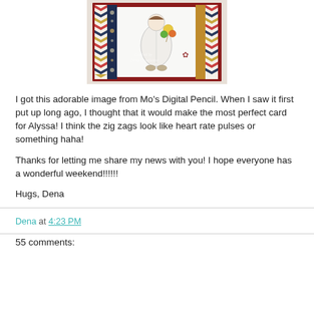[Figure (photo): A handmade greeting card featuring a character in white coat holding flowers/balloons, set against patterned paper with colorful zig-zag chevron and floral patterns in red, blue, gold, and cream.]
I got this adorable image from Mo's Digital Pencil.  When I saw it first put up long ago, I thought that it would make the most perfect card for Alyssa!  I think the zig zags look like heart rate pulses or something haha!

Thanks for letting me share my news with you!  I hope everyone has a wonderful weekend!!!!!!

Hugs, Dena
Dena at 4:23 PM
55 comments: